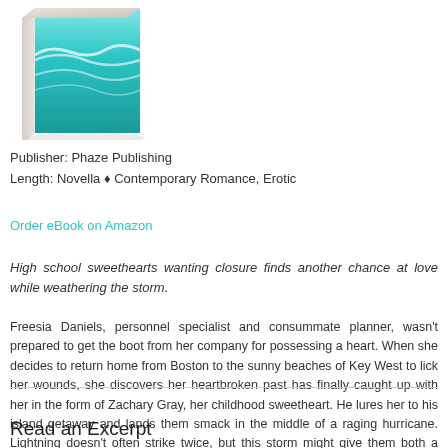[Figure (photo): Book cover showing ocean waves with teal/turquoise color, displayed as a 3D book spine view]
Publisher: Phaze Publishing
Length: Novella ♦ Contemporary Romance, Erotic
Order eBook on Amazon
High school sweethearts wanting closure finds another chance at love while weathering the storm.
Freesia Daniels, personnel specialist and consummate planner, wasn't prepared to get the boot from her company for possessing a heart. When she decides to return home from Boston to the sunny beaches of Key West to lick her wounds, she discovers her heartbroken past has finally caught up with her in the form of Zachary Gray, her childhood sweetheart. He lures her to his island getaway and lands them smack in the middle of a raging hurricane. Lightning doesn't often strike twice, but this storm might give them both a second chance at love.
Read an Excerpt